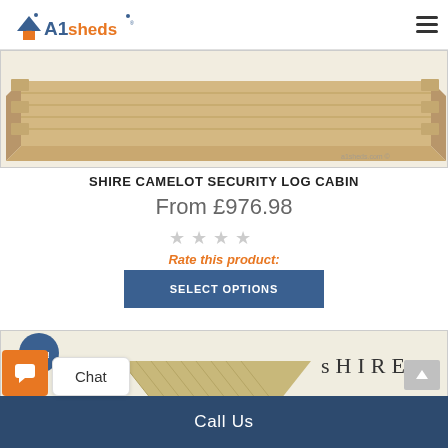A1sheds
[Figure (photo): Photo of a wooden log cabin base/frame from above, showing corner joints and pale pine timber boards. Watermark: a1sheds.com ©]
SHIRE CAMELOT SECURITY LOG CABIN
From £976.98
Rate this product:
SELECT OPTIONS
[Figure (photo): Partial view of a second log cabin product card with a Sale! badge and SHIRE brand logo, showing the corner of a green-tinged wooden cabin structure.]
Chat
Call Us